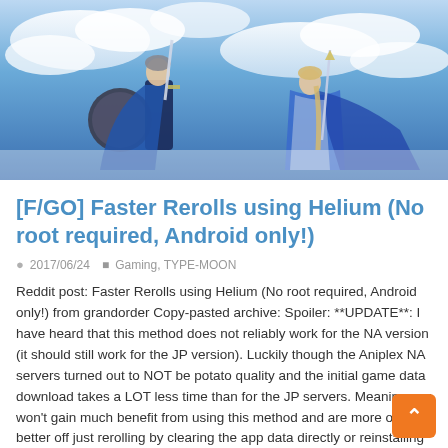[Figure (illustration): Anime-style game artwork showing two blue-clad characters (from Fate/Grand Order) with blue capes, swords, and shields against a blue sky with clouds background.]
[F/GO] Faster Rerolls using Helium (No root required, Android only!)
2017/06/24   Gaming, TYPE-MOON
Reddit post: Faster Rerolls using Helium (No root required, Android only!) from grandorder Copy-pasted archive: Spoiler: **UPDATE**: I have heard that this method does not reliably work for the NA version (it should still work for the JP version). Luckily though the Aniplex NA servers turned out to NOT be potato quality and the initial game data download takes a LOT less time than for the JP servers. Meaning you won't gain much benefit from using this method and are more or less better off just rerolling by clearing the app data directly or reinstalling the app each time. #Background …
Read More »